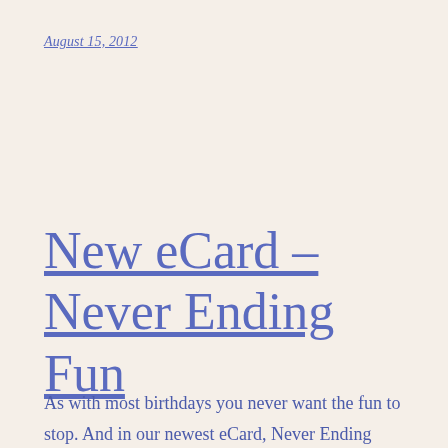August 15, 2012
New eCard – Never Ending Fun
As with most birthdays you never want the fun to stop. And in our newest eCard, Never Ending